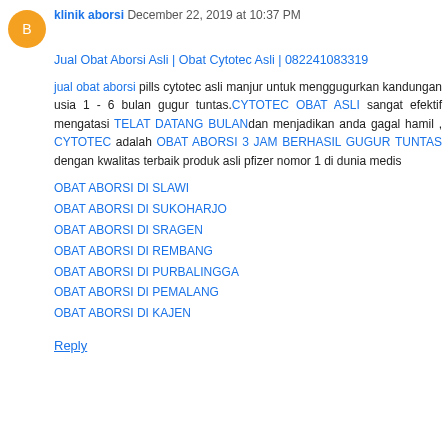klinik aborsi December 22, 2019 at 10:37 PM
Jual Obat Aborsi Asli | Obat Cytotec Asli | 082241083319
jual obat aborsi pills cytotec asli manjur untuk menggugurkan kandungan usia 1 - 6 bulan gugur tuntas.CYTOTEC OBAT ASLI sangat efektif mengatasi TELAT DATANG BULANdan menjadikan anda gagal hamil , CYTOTEC adalah OBAT ABORSI 3 JAM BERHASIL GUGUR TUNTAS dengan kwalitas terbaik produk asli pfizer nomor 1 di dunia medis
OBAT ABORSI DI SLAWI
OBAT ABORSI DI SUKOHARJO
OBAT ABORSI DI SRAGEN
OBAT ABORSI DI REMBANG
OBAT ABORSI DI PURBALINGGA
OBAT ABORSI DI PEMALANG
OBAT ABORSI DI KAJEN
Reply